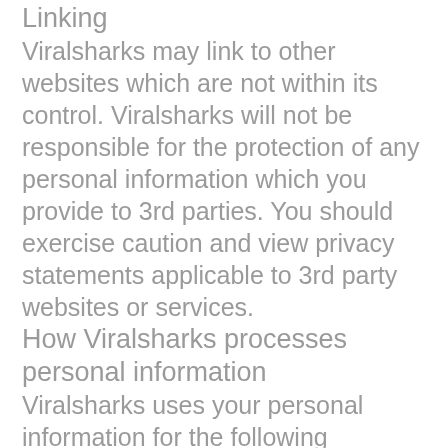Linking
Viralsharks may link to other websites which are not within its control. Viralsharks will not be responsible for the protection of any personal information which you provide to 3rd parties. You should exercise caution and view privacy statements applicable to 3rd party websites or services.
How Viralsharks processes personal information
Viralsharks uses your personal information for the following reasons:
To provide services or information you have requested and to notify you about important changes or developments to these services;
To respond to your inquiries and complaints